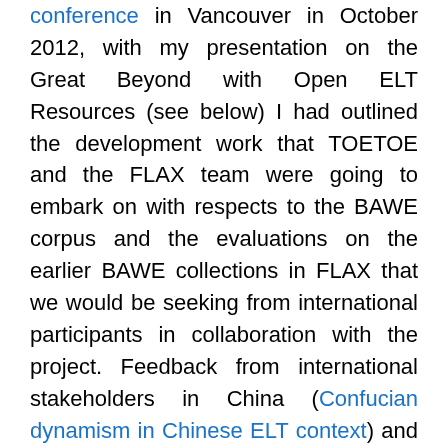conference in Vancouver in October 2012, with my presentation on the Great Beyond with Open ELT Resources (see below) I had outlined the development work that TOETOE and the FLAX team were going to embark on with respects to the BAWE corpus and the evaluations on the earlier BAWE collections in FLAX that we would be seeking from international participants in collaboration with the project. Feedback from international stakeholders in China (Confucian dynamism in Chinese ELT context) and Korea (the English language skyline in South Korea) on the BAWE collections in FLAX led to further design and development iterations while back in New Zealand with the FLAX team (Love is a stranger in an open car to tempt you in and drive you far away…toward open educational practice) which have been captured in the project blog posts here in brackets.